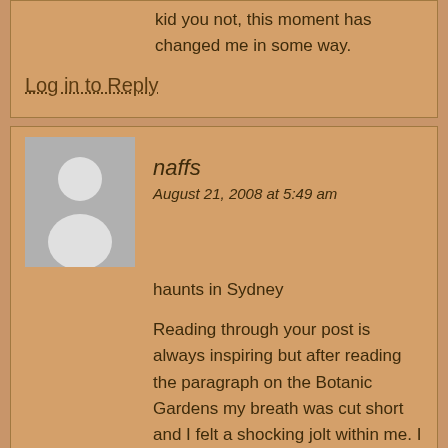kid you not, this moment has changed me in some way.
Log in to Reply
naffs
August 21, 2008 at 5:49 am
haunts in Sydney
Reading through your post is always inspiring but after reading the paragraph on the Botanic Gardens my breath was cut short and I felt a shocking jolt within me. I can seriously say that for the first time in my life, at this very moment, I have been slammed with the realisation of the true impact white settlement has had on this